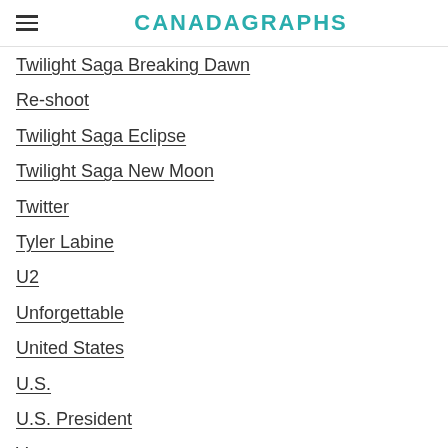CANADAGRAPHS
Twilight Saga Breaking Dawn
Re-shoot
Twilight Saga Eclipse
Twilight Saga New Moon
Twitter
Tyler Labine
U2
Unforgettable
United States
U.S.
U.S. President
V
Vancouver
Vancouver Art Gallery
Vancouver Canucks